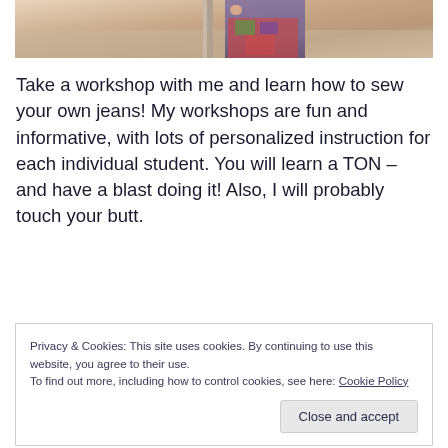[Figure (photo): Partial photo of a person wearing a colorful floral outfit, cropped at the top of the page with a door frame visible]
Take a workshop with me and learn how to sew your own jeans! My workshops are fun and informative, with lots of personalized instruction for each individual student. You will learn a TON – and have a blast doing it! Also, I will probably touch your butt.
Privacy & Cookies: This site uses cookies. By continuing to use this website, you agree to their use.
To find out more, including how to control cookies, see here: Cookie Policy
Close and accept